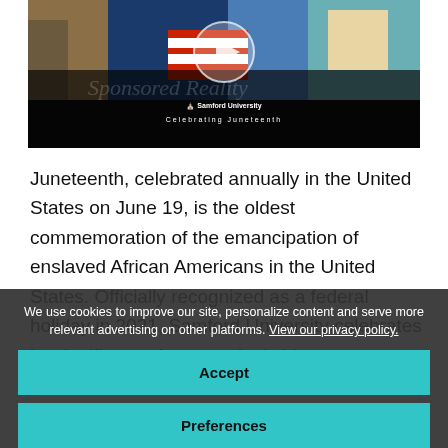[Figure (screenshot): Video thumbnail showing a colorful mural with Samford University logo overlay and text 'Celebrating Juneteenth', with a play button circle in the center.]
Juneteenth, celebrated annually in the United States on June 19, is the oldest commemoration of the emancipation of enslaved African Americans in the United States. Officially recognized as a federal holiday in 2021, Samford University celebrates its significance in our nation's history.
We use cookies to improve our site, personalize content and serve more relevant advertising on other platforms. View our privacy policy.
Accept
Preferences